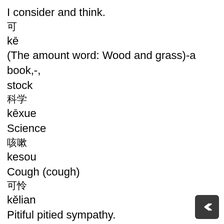I consider and think.
可
kē
(The amount word: Wood and grass)-a book,-, stock
科学
kēxue
Science
咳嗽
kesou
Cough (cough)
可怜
kělian
Pitiful pitied sympathy.
可是
kěshi